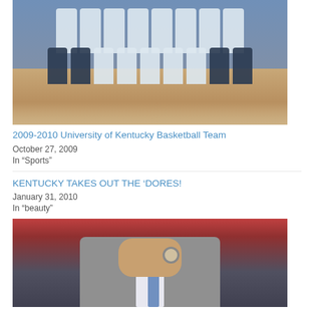[Figure (photo): 2009-2010 University of Kentucky Basketball Team group photo on basketball court]
2009-2010 University of Kentucky Basketball Team
October 27, 2009
In "Sports"
KENTUCKY TAKES OUT THE ‘DORES!
January 31, 2010
In "beauty"
[Figure (photo): Close-up photo of a man in a grey suit clapping his hands, likely a basketball coach]